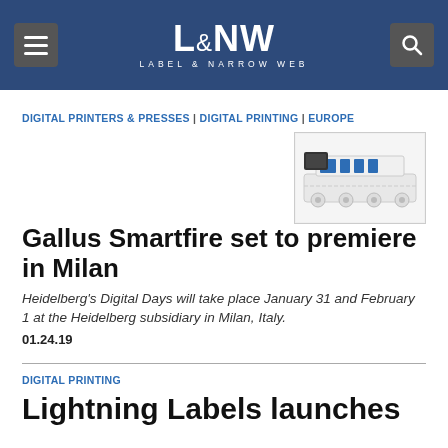L&NW LABEL & NARROW WEB
DIGITAL PRINTERS & PRESSES | DIGITAL PRINTING | EUROPE
[Figure (photo): Industrial printing machine, white and blue, on white background]
Gallus Smartfire set to premiere in Milan
Heidelberg's Digital Days will take place January 31 and February 1 at the Heidelberg subsidiary in Milan, Italy.
01.24.19
DIGITAL PRINTING
Lightning Labels launches